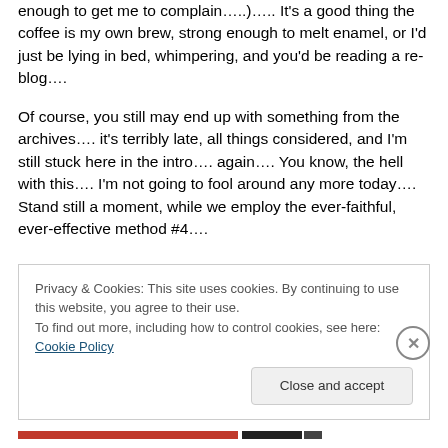enough to get me to complain….)….. It's a good thing the coffee is my own brew, strong enough to melt enamel, or I'd just be lying in bed, whimpering, and you'd be reading a re-blog….
Of course, you still may end up with something from the archives…. it's terribly late, all things considered, and I'm still stuck here in the intro…. again…. You know, the hell with this…. I'm not going to fool around any more today…. Stand still a moment, while we employ the ever-faithful, ever-effective method #4….
Privacy & Cookies: This site uses cookies. By continuing to use this website, you agree to their use.
To find out more, including how to control cookies, see here: Cookie Policy